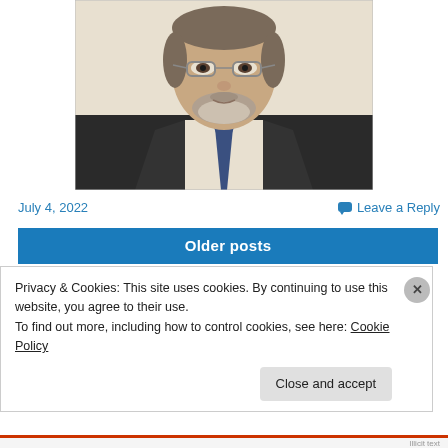[Figure (photo): Headshot of a middle-aged man with glasses, grey beard, wearing a dark suit jacket and blue patterned tie, against a cream background.]
July 4, 2022
Leave a Reply
Older posts
Privacy & Cookies: This site uses cookies. By continuing to use this website, you agree to their use.
To find out more, including how to control cookies, see here: Cookie Policy
Close and accept